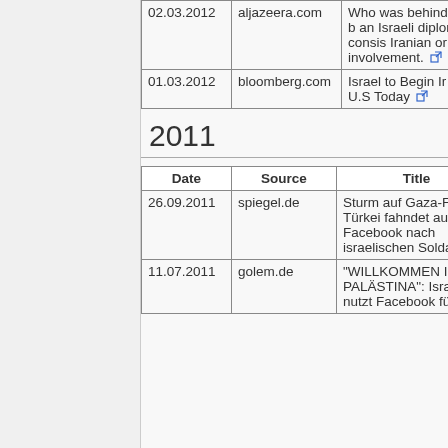| Date | Source | Title | Tag |
| --- | --- | --- | --- |
| 02.03.2012 | aljazeera.com | Who was behind bombing? The b an Israeli diplom India isn't consis Iranian or Hezbo involvement. |  |
| 01.03.2012 | bloomberg.com | Israel to Begin Ir Reserves in U.S Today |  |
2011
| Date | Source | Title | Tag |
| --- | --- | --- | --- |
| 26.09.2011 | spiegel.de | Sturm auf Gaza-Flotte: Türkei fahndet auf Facebook nach israelischen Soldaten | TR FA |
| 11.07.2011 | golem.de | "WILLKOMMEN IN PALÄSTINA": Israel nutzt Facebook für | SO ME PS FA |